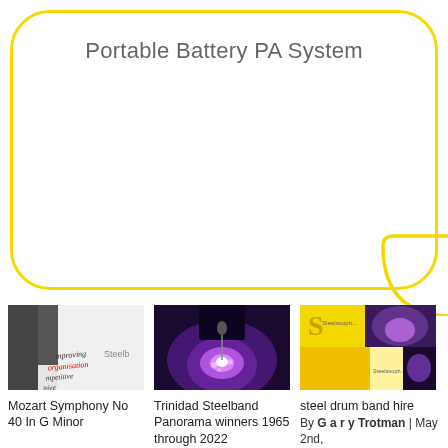Portable Battery PA System
[Figure (photo): Photo collage thumbnail for Mozart Symphony No 40 In G Minor, showing handwritten music notes and a steelband logo]
Mozart Symphony No 40 In G Minor
[Figure (photo): Photo of a steel drummer performing under purple/blue stage lighting — Trinidad Steelband Panorama winners 1965]
Trinidad Steelband Panorama winners 1965 through 2022
[Figure (photo): Collage of yellow and purple images with steel drum band branding — steel drum band hire]
steel drum band hire
By Gary Trotman | May 2nd,